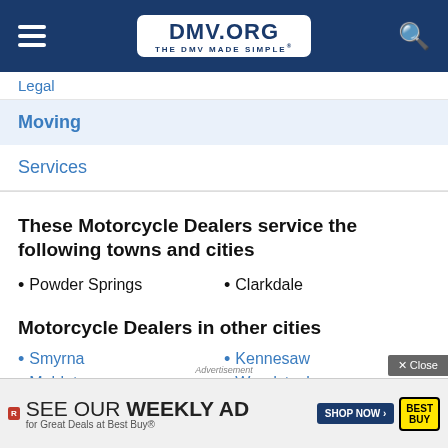DMV.ORG — THE DMV MADE SIMPLE
Legal
Moving
Services
These Motorcycle Dealers service the following towns and cities
Powder Springs
Clarkdale
Motorcycle Dealers in other cities
Smyrna
Kennesaw
Mableton
Woodstock
Acworth
Austell
R…
Advertisement
SEE OUR WEEKLY AD for Great Deals at Best Buy®